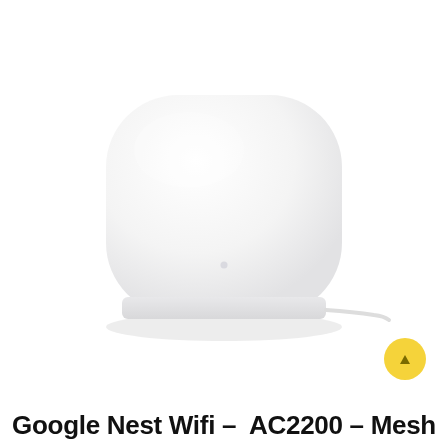[Figure (photo): Google Nest Wifi router device — a compact white rounded-square shaped device with a subtle glossy finish, a small indicator light on the front, and a white cable coming out of the right side, photographed against a white background.]
Google Nest Wifi –  AC2200 – Mesh